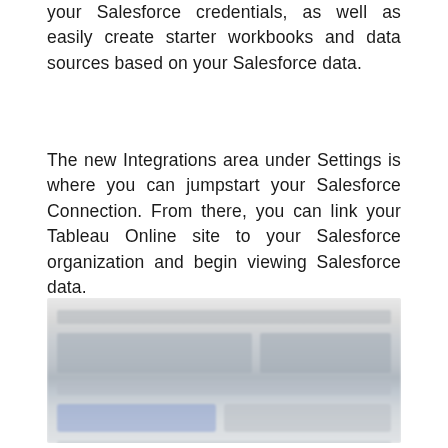your Salesforce credentials, as well as easily create starter workbooks and data sources based on your Salesforce data.
The new Integrations area under Settings is where you can jumpstart your Salesforce Connection. From there, you can link your Tableau Online site to your Salesforce organization and begin viewing Salesforce data.
[Figure (screenshot): A blurred/redacted screenshot of a Tableau Online Settings Integrations interface showing the Salesforce connection configuration panel.]